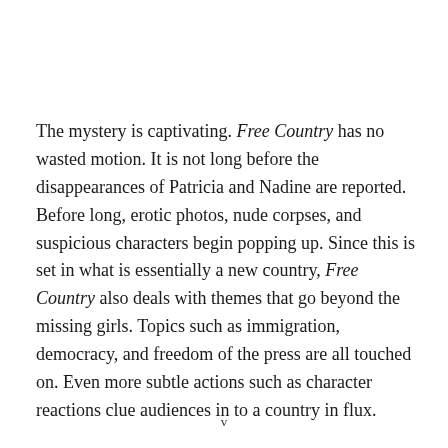The mystery is captivating. Free Country has no wasted motion. It is not long before the disappearances of Patricia and Nadine are reported. Before long, erotic photos, nude corpses, and suspicious characters begin popping up. Since this is set in what is essentially a new country, Free Country also deals with themes that go beyond the missing girls. Topics such as immigration, democracy, and freedom of the press are all touched on. Even more subtle actions such as character reactions clue audiences in to a country in flux.
v